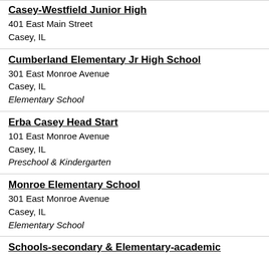Casey-Westfield Junior High
401 East Main Street
Casey, IL
Cumberland Elementary Jr High School
301 East Monroe Avenue
Casey, IL
Elementary School
Erba Casey Head Start
101 East Monroe Avenue
Casey, IL
Preschool & Kindergarten
Monroe Elementary School
301 East Monroe Avenue
Casey, IL
Elementary School
Schools-secondary & Elementary-academic